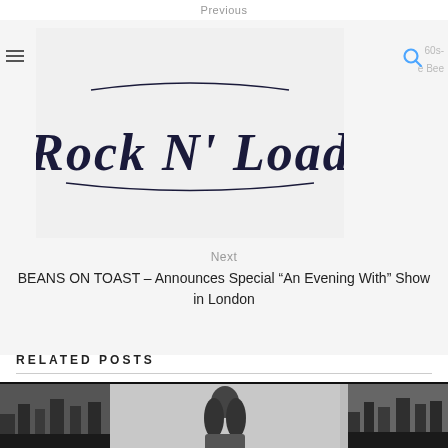Previous
[Figure (logo): Rock N' Load logo - decorative serif/blackletter style text on light background]
60s-
e Bee
Next
BEANS ON TOAST – Announces Special “An Evening With” Show in London
RELATED POSTS
[Figure (photo): Three black and white photos showing: left - nature/trees, center - man with long hair facing camera, right - nature/trees. Photo strip at bottom of page.]